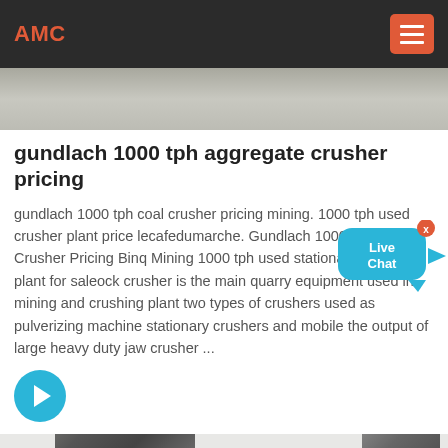AMC
[Figure (photo): Partial view of a grey/tan surface, appears to be a mining or industrial site photograph cropped at top]
gundlach 1000 tph aggregate crusher pricing
gundlach 1000 tph coal crusher pricing mining. 1000 tph used crusher plant price lecafedumarche. Gundlach 1000 Tph Coal Crusher Pricing Binq Mining 1000 tph used stationary crusher plant for saleock crusher is the main quarry equipment used in mining and crushing plant two types of crushers used as pulverizing machine stationary crushers and mobile the output of large heavy duty jaw crusher ...
[Figure (illustration): Blue circular arrow button (read more / next link)]
[Figure (illustration): Live Chat widget bubble in cyan/teal color with X close button in orange-red, positioned over text]
[Figure (photo): Bottom portion of page showing partial grey strip and partial images of industrial/mining machinery equipment at bottom]